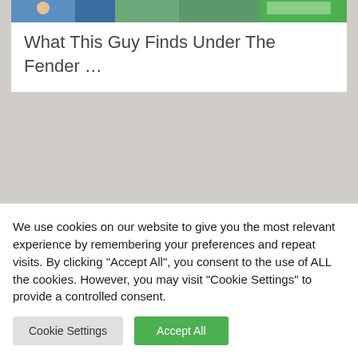[Figure (photo): Partial top image cropped at top of page showing outdoor scene]
What This Guy Finds Under The Fender ...
[Figure (photo): Photo of men standing next to a car on a dirt road with hills in background, warm sepia/orange tone]
We use cookies on our website to give you the most relevant experience by remembering your preferences and repeat visits. By clicking "Accept All", you consent to the use of ALL the cookies. However, you may visit "Cookie Settings" to provide a controlled consent.
Cookie Settings
Accept All